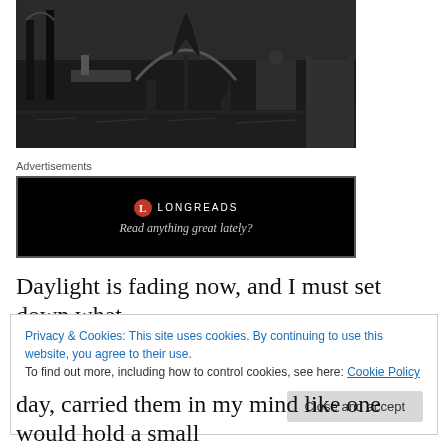[Figure (illustration): A dark, high-contrast black and white illustration of a graveyard or ruins scene with tombstones, arches, and stone structures.]
Advertisements
[Figure (other): Longreads advertisement banner with black background. Shows Longreads logo (red circle with L) and text 'Read anything great lately?']
Daylight is fading now, and I must set down what
Privacy & Cookies: This site uses cookies. By continuing to use this website, you agree to their use.
To find out more, including how to control cookies, see here: Cookie Policy
Close and accept
day, carried them in my mind like one would hold a small